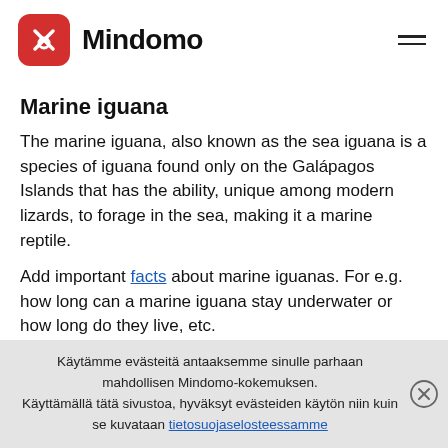Mindomo
Marine iguana
The marine iguana, also known as the sea iguana is a species of iguana found only on the Galápagos Islands that has the ability, unique among modern lizards, to forage in the sea, making it a marine reptile.
Add important facts about marine iguanas. For e.g. how long can a marine iguana stay underwater or how long do they live, etc.
Crocodile
Käytämme evästeitä antaaksemme sinulle parhaan mahdollisen Mindomo-kokemuksen.
Käyttämällä tätä sivustoa, hyväksyt evästeiden käytön niin kuin se kuvataan tietosuojaselosteessamme